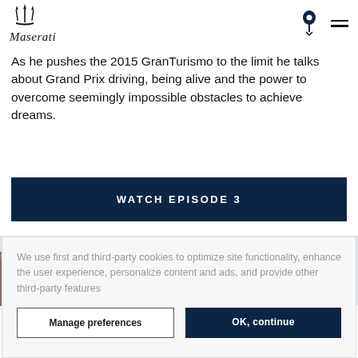Maserati
As he pushes the 2015 GranTurismo to the limit he talks about Grand Prix driving, being alive and the power to overcome seemingly impossible obstacles to achieve dreams.
WATCH EPISODE 3
[Figure (photo): Outdoor photo of a historic tower/bell tower against a light sky with architectural buildings visible]
We use first and third-party cookies to optimize site functionality, enhance the user experience, personalize content and ads, and provide other third-party features
Manage preferences
OK, continue